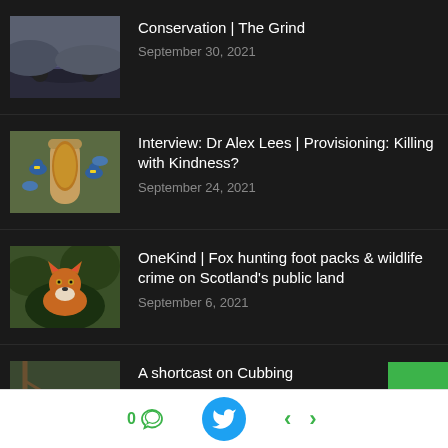Conservation | The Grind
September 30, 2021
Interview: Dr Alex Lees | Provisioning: Killing with Kindness?
September 24, 2021
OneKind | Fox hunting foot packs & wildlife crime on Scotland's public land
September 6, 2021
A shortcast on Cubbing
September 5, 2021
0 [comment] [Twitter] < >